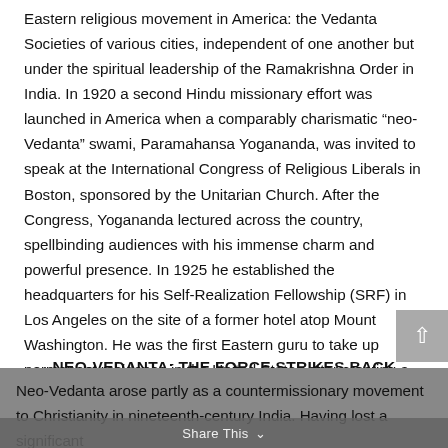Eastern religious movement in America: the Vedanta Societies of various cities, independent of one another but under the spiritual leadership of the Ramakrishna Order in India. In 1920 a second Hindu missionary effort was launched in America when a comparably charismatic “neo-Vedanta” swami, Paramahansa Yogananda, was invited to speak at the International Congress of Religious Liberals in Boston, sponsored by the Unitarian Church. After the Congress, Yogananda lectured across the country, spellbinding audiences with his immense charm and powerful presence. In 1925 he established the headquarters for his Self-Realization Fellowship (SRF) in Los Angeles on the site of a former hotel atop Mount Washington. He was the first Eastern guru to take up permanent residence in the United States after creating a following here.
NEO-VEDANTA: THE FORCE STRIKES BACK
Neo-Vedanta arose partly as a countermissionary movement to Christianity in nineteenth-century India. Having lost a significant